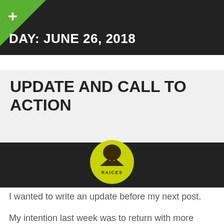DAY: JUNE 26, 2018
UPDATE AND CALL TO ACTION
[Figure (logo): RAICES organization logo — yellow-green circle with a tree and mountain silhouette icon, text 'RAICES' below icon]
I wanted to write an update before my next post.
My intention last week was to return with more information about the border crisis, and that is what it is – a crisis, and then continue